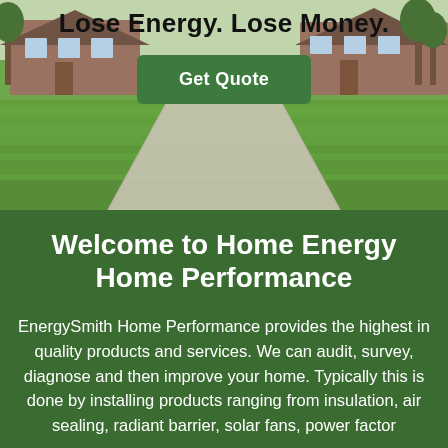[Figure (photo): Hero image of a suburban house with green lawn and driveway, with text overlay 'Lose Energy. Lose Money.' and a green 'Get Quote' button]
Welcome to Home Energy Home Performance
EnergySmith Home Performance provides the highest in quality products and services. We can audit, survey, diagnose and then improve your home. Typically this is done by installing products ranging from insulation, air sealing, radiant barrier, solar fans, power factor